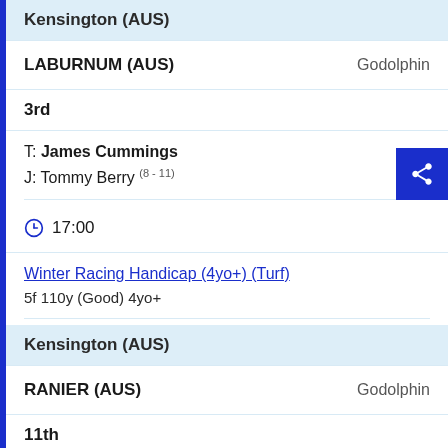Kensington (AUS)
LABURNUM (AUS)   Godolphin
3rd
T: James Cummings
J: Tommy Berry (8 - 11)
17:00
Winter Racing Handicap (4yo+) (Turf)
5f 110y (Good) 4yo+
Kensington (AUS)
RANIER (AUS)   Godolphin
11th